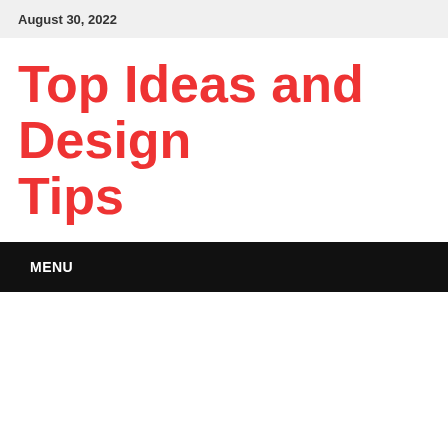August 30, 2022
Top Ideas and Design Tips
MENU